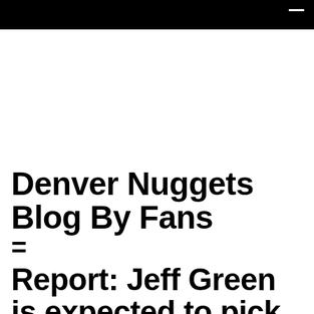Denver Nuggets Blog By Fans =
Report: Jeff Green is expected to pick up his player option for